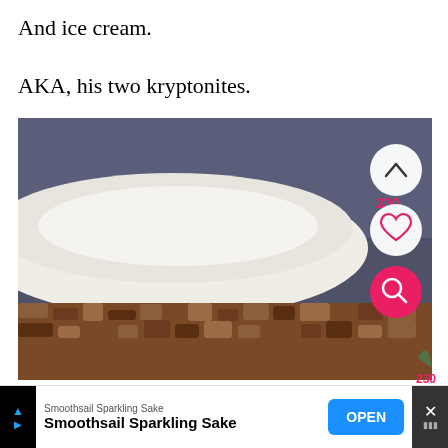And ice cream.
AKA, his two kryptonites.
[Figure (photo): Close-up photo of a white frosted cake topped with chopped pecans around the edges, against a dark blue-grey background. Overlay UI buttons visible: an up-arrow button, a heart/like button with count 230, and a pink search button.]
Smoothsail Sparkling Sake
Smoothsail Sparkling Sake
OPEN